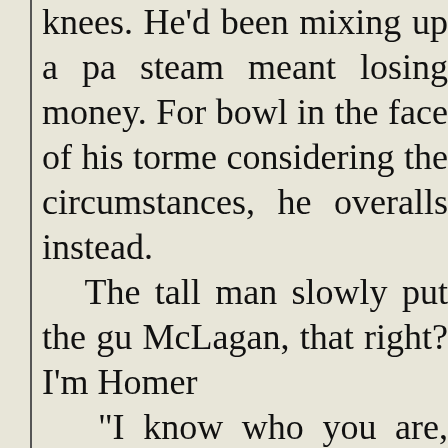knees. He'd been mixing up a pa steam meant losing money. For bowl in the face of his torme considering the circumstances, he overalls instead.
	The tall man slowly put the gu McLagan, that right? I'm Homer
	“I know who you are, Homer. C plannin’ to shoot me?”
	“Naw, the gun’s mostly for sho and then we’re gonna take you to
	That was about what Duncan
Homer. Ho… … li